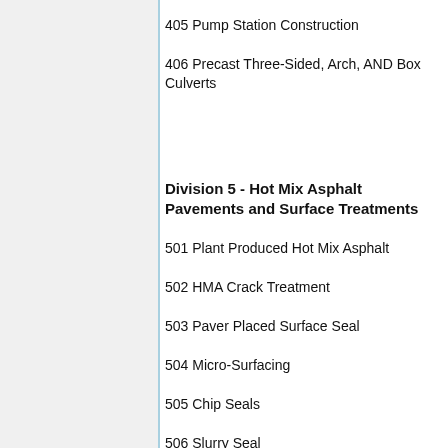405 Pump Station Construction
406 Precast Three-Sided, Arch, AND Box Culverts
Division 5 - Hot Mix Asphalt Pavements and Surface Treatments
501 Plant Produced Hot Mix Asphalt
502 HMA Crack Treatment
503 Paver Placed Surface Seal
504 Micro-Surfacing
505 Chip Seals
506 Slurry Seal